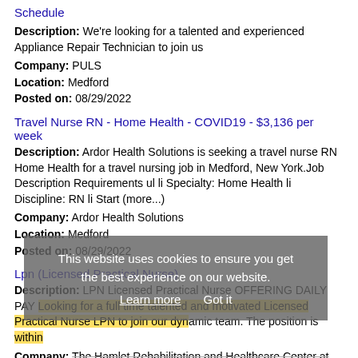Schedule
Description: We're looking for a talented and experienced Appliance Repair Technician to join us
Company: PULS
Location: Medford
Posted on: 08/29/2022
Travel Nurse RN - Home Health - COVID19 - $3,136 per week
Description: Ardor Health Solutions is seeking a travel nurse RN Home Health for a travel nursing job in Medford, New York.Job Description Requirements ul li Specialty: Home Health li Discipline: RN li Start (more...)
Company: Ardor Health Solutions
Location: Medford
Posted on: 08/29/2022
Lpn (Licensed Practical Nurse)
Description: LPN Licensed Practical Nurse OFFERING DAILY PAY Looking for a full time talented and motivated Licensed Practical Nurse LPN to join our dynamic team. The position is within
Company: The Hamlet Rehabilitation and Healthcare Center at
Location: Nesconset
Posted on: 08/29/2022
This website uses cookies to ensure you get the best experience on our website. Learn more Got it